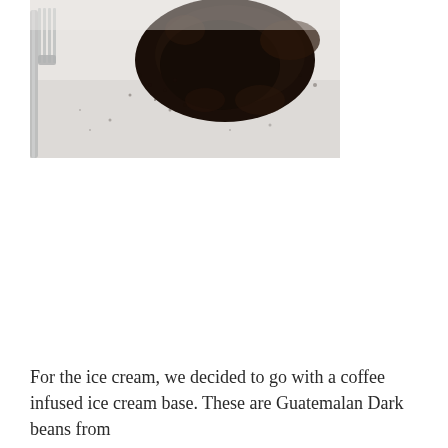[Figure (photo): Close-up overhead photo of dark ground coffee beans/grounds on a white surface with a metal fork or whisk visible on the left side]
For the ice cream, we decided to go with a coffee infused ice cream base. These are Guatemalan Dark beans from